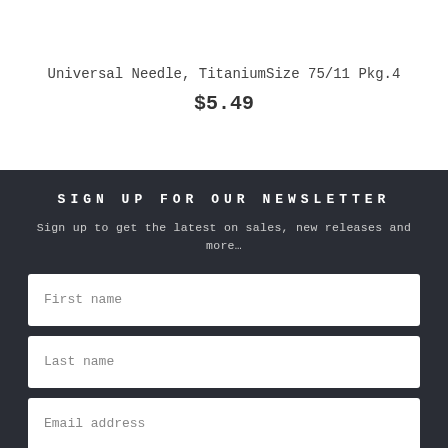Universal Needle, TitaniumSize 75/11 Pkg.4
$5.49
SIGN UP FOR OUR NEWSLETTER
Sign up to get the latest on sales, new releases and more…
First name
Last name
Email address